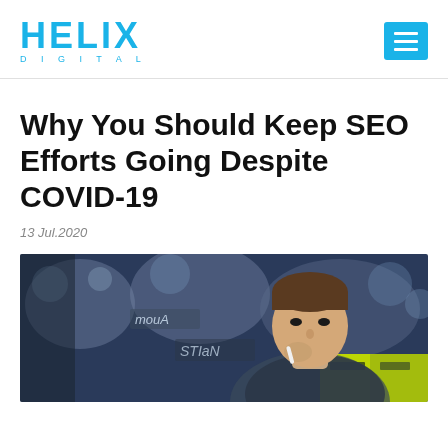HELIX DIGITAL
Why You Should Keep SEO Efforts Going Despite COVID-19
13 Jul.2020
[Figure (photo): A young man holding something in front of his mouth with blurred signs and lights in the background, one of which reads 'mouA' and 'STIaN']